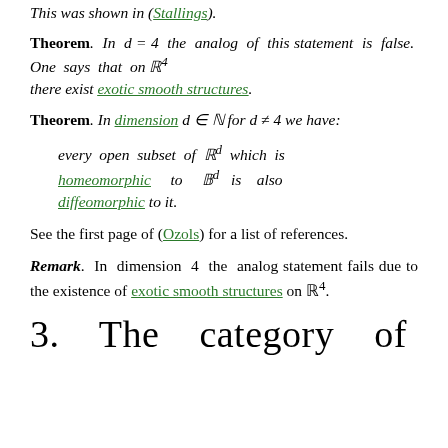This was shown in (Stallings).
Theorem. In d = 4 the analog of this statement is false. One says that on ℝ⁴ there exist exotic smooth structures.
Theorem. In dimension d ∈ ℕ for d ≠ 4 we have:
every open subset of ℝᵈ which is homeomorphic to 𝔹ᵈ is also diffeomorphic to it.
See the first page of (Ozols) for a list of references.
Remark. In dimension 4 the analog statement fails due to the existence of exotic smooth structures on ℝ⁴.
3.   The   category   of